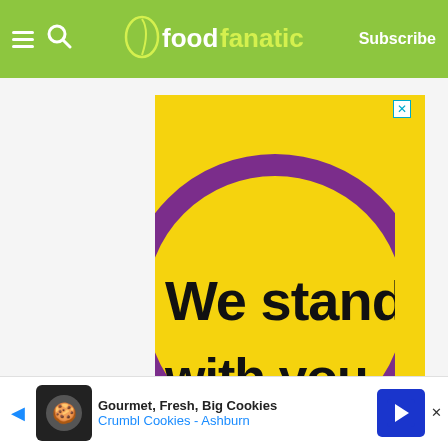foodfanatic — Subscribe
[Figure (illustration): Advertisement banner with yellow background, large purple circle outline, and bold black text reading 'We stand with you.']
6. Maple Bourbon Glazed Carrots Recipe
[Figure (illustration): Bottom advertisement banner for Crumbl Cookies - Ashburn: Gourmet, Fresh, Big Cookies]